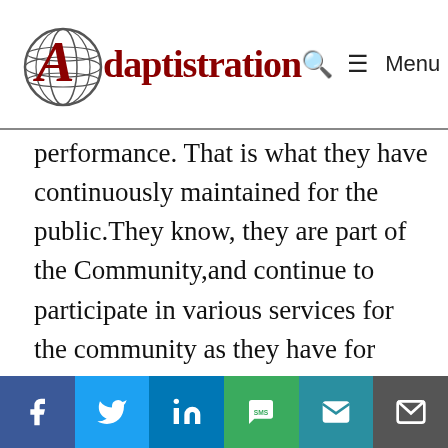Adaptistration — Menu
performance. That is what they have continuously maintained for the public.They know, they are part of the Community,and continue to participate in various services for the community as they have for many years. For instance,they gave a benefit concert at a homeless shelter, and held a press conference, alerting the public of
Social share buttons: Facebook, Twitter, LinkedIn, SMS, Email, Email